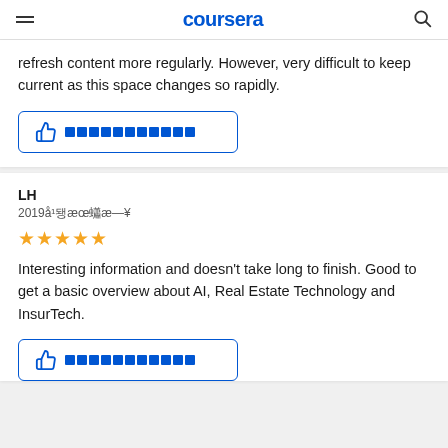coursera
refresh content more regularly. However, very difficult to keep current as this space changes so rapidly.
[Figure (other): Thumbs up helpful button with redacted text]
LH
2019年11月28日
[Figure (other): 4.5 star rating shown as gold stars]
Interesting information and doesn't take long to finish. Good to get a basic overview about AI, Real Estate Technology and InsurTech.
[Figure (other): Thumbs up helpful button with redacted text]